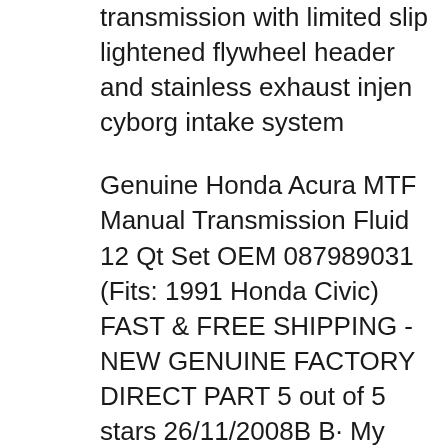transmission with limited slip lightened flywheel header and stainless exhaust injen cyborg intake system
Genuine Honda Acura MTF Manual Transmission Fluid 12 Qt Set OEM 087989031 (Fits: 1991 Honda Civic) FAST & FREE SHIPPING - NEW GENUINE FACTORY DIRECT PART 5 out of 5 stars 26/11/2008B B· My new 91 Honda Civic DX which is replacing my 88 legend with blown rings.
Looking for a 1991 Honda Civic for sale ? Use our search to find it. We have thousands of listings and a variety of research tools to help you find the perfect car or truck 1991 honda civic